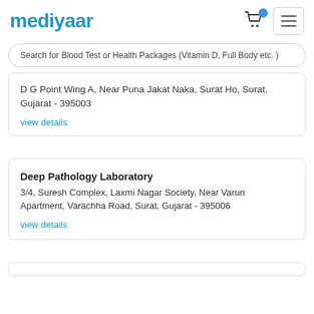[Figure (logo): mediyaar logo in blue text]
Search for Blood Test or Health Packages (Vitamin D, Full Body etc. )
D G Point Wing A, Near Puna Jakat Naka, Surat Ho, Surat, Gujarat - 395003
view details
Deep Pathology Laboratory
3/4, Suresh Complex, Laxmi Nagar Society, Near Varun Apartment, Varachha Road, Surat, Gujarat - 395006
view details